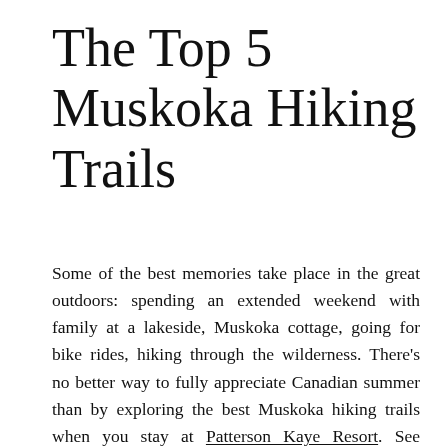The Top 5 Muskoka Hiking Trails
Some of the best memories take place in the great outdoors: spending an extended weekend with family at a lakeside, Muskoka cottage, going for bike rides, hiking through the wilderness. There’s no better way to fully appreciate Canadian summer than by exploring the best Muskoka hiking trails when you stay at Patterson Kaye Resort. See Ontario wildlife, scenic overlooks, and even a waterfall on these hiking trails near